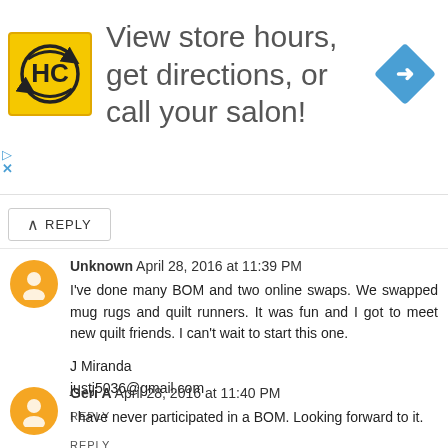[Figure (infographic): Advertisement banner with HC logo (yellow square with black HC letters and circular arrows), text 'View store hours, get directions, or call your salon!', and a blue diamond navigation arrow icon on the right.]
REPLY
Unknown  April 28, 2016 at 11:39 PM
I've done many BOM and two online swaps. We swapped mug rugs and quilt runners. It was fun and I got to meet new quilt friends. I can't wait to start this one.

J Miranda
justj5036@gmail.com

REPLY
Geri A  April 28, 2016 at 11:40 PM
I have never participated in a BOM. Looking forward to it.
REPLY